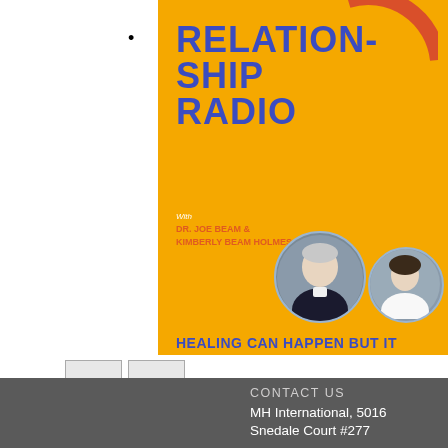•
[Figure (illustration): Relationship Radio podcast cover art on yellow/orange background featuring bold blue text reading RELATIONSHIP RADIO, hosts Dr. Joe Beam & Kimberly Beam Holmes, with circular photo frames of two hosts, and partial text HEALING CAN HAPPEN BUT IT at the bottom. A red arc/headphone graphic appears at the top.]
[Figure (other): Two gray navigation/thumbnail buttons side by side]
CONTACT US
MH International, 5016 Snedale Court #277